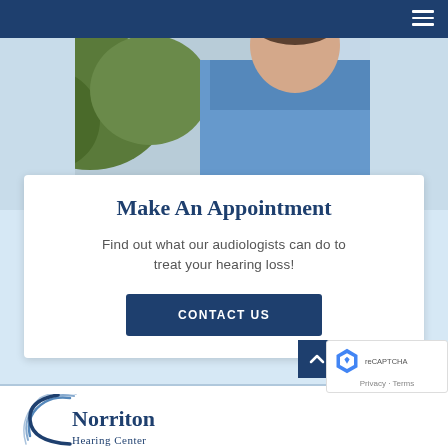[Figure (photo): Photo of a man in a blue shirt, likely an audiologist, standing in front of a building with trees in the background. Partial text 'FACE' visible on a sign behind him.]
Make An Appointment
Find out what our audiologists can do to treat your hearing loss!
CONTACT US
[Figure (logo): Norriton Hearing Center logo with circular arc lines]
[Figure (other): reCAPTCHA badge with Privacy and Terms links]